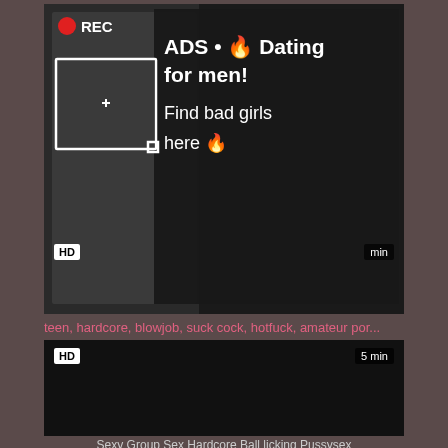[Figure (screenshot): Video thumbnail with HD badge and duration, showing a pop-up advertisement overlay with a photo of a woman taking a selfie, REC indicator, and text 'ADS • 🔥 Dating for men! Find bad girls here 🔥']
teen, hardcore, blowjob, suck cock, hotfuck, amateur por...
[Figure (screenshot): Black video player thumbnail with HD badge and '5 min' duration label]
Sexy Group Sex Hardcore Ball licking Pussysex